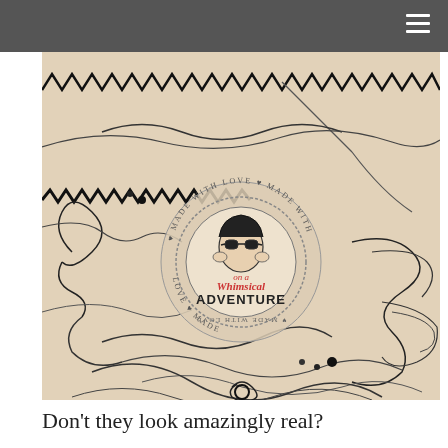[Figure (illustration): A beige/kraft paper textured background covered with chaotic black thread/wire lines, zigzag stitching patterns, loops, and scribbles. In the center is a circular stamp/logo reading 'on a Whimsical ADVENTURE' with 'MADE WITH LOVE' text around the border and an illustrated face wearing sunglasses.]
Don’t they look amazingly real?